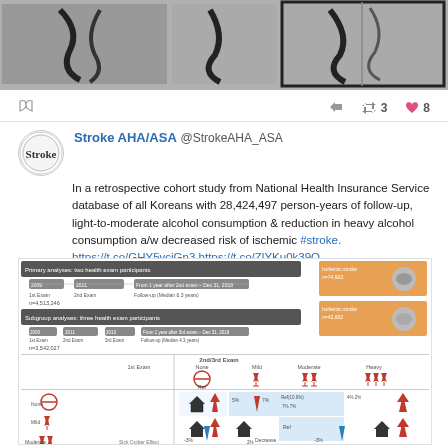[Figure (photo): Medical angiography images showing vascular structures, three panels with the rightmost highlighted in a dark border]
share icon, reply icon, retweet 3, like 8
Stroke AHA/ASA @StrokeAHA_ASA
In a retrospective cohort study from National Health Insurance Service database of all Koreans with 28,424,497 person-years of follow-up, light-to-moderate alcohol consumption & reduction in heavy alcohol consumption a/w decreased risk of ischemic #stroke. https://t.co/GHY5vcjGn3 https://t.co/ZlYKu0k39O
[Figure (infographic): Study design timeline and grid infographic showing alcohol consumption categories (None, Mild, Moderate, Heavy) at 1st Exam vs 2nd/3rd Exam, with arrows showing risk increase/decrease for ischemic stroke outcomes, including Ischemic stroke data panels on the right]